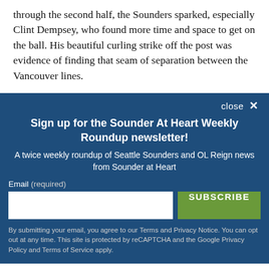through the second half, the Sounders sparked, especially Clint Dempsey, who found more time and space to get on the ball. His beautiful curling strike off the post was evidence of finding that seam of separation between the Vancouver lines.
close ×
Sign up for the Sounder At Heart Weekly Roundup newsletter!
A twice weekly roundup of Seattle Sounders and OL Reign news from Sounder at Heart
Email (required)
SUBSCRIBE
By submitting your email, you agree to our Terms and Privacy Notice. You can opt out at any time. This site is protected by reCAPTCHA and the Google Privacy Policy and Terms of Service apply.